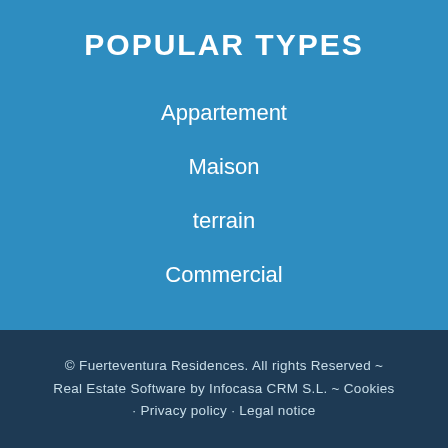POPULAR TYPES
Appartement
Maison
terrain
Commercial
© Fuerteventura Residences. All rights Reserved ~ Real Estate Software by Infocasa CRM S.L. ~ Cookies · Privacy policy · Legal notice